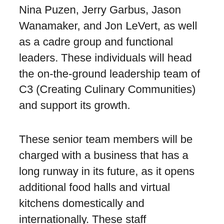Nina Puzen, Jerry Garbus, Jason Wanamaker, and Jon LeVert, as well as a cadre group and functional leaders. These individuals will head the on-the-ground leadership team of C3 (Creating Culinary Communities) and support its growth.
These senior team members will be charged with a business that has a long runway in its future, as it opens additional food halls and virtual kitchens domestically and internationally. These staff appointments will also boost the likely success of the organization's food hall openings, including Citizens Manhattan West and Citizens